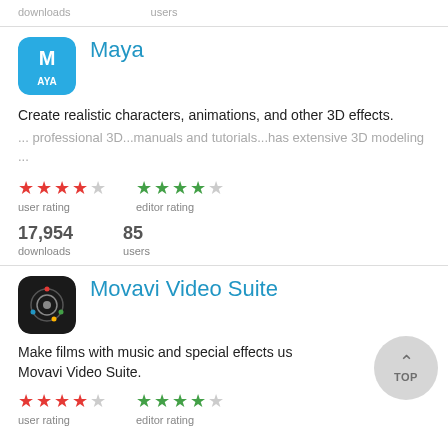downloads   users
[Figure (logo): Maya app icon - blue square with M and AYA text]
Maya
Create realistic characters, animations, and other 3D effects.
... professional 3D...manuals and tutorials...has extensive 3D modeling ...
user rating: 4/5 red stars, editor rating: 4/5 green stars
17,954 downloads   85 users
[Figure (logo): Movavi Video Suite app icon - black rounded square with camera/orbit icon]
Movavi Video Suite
Make films with music and special effects using Movavi Video Suite.
user rating: 4/5 red stars, editor rating: 4/5 green stars